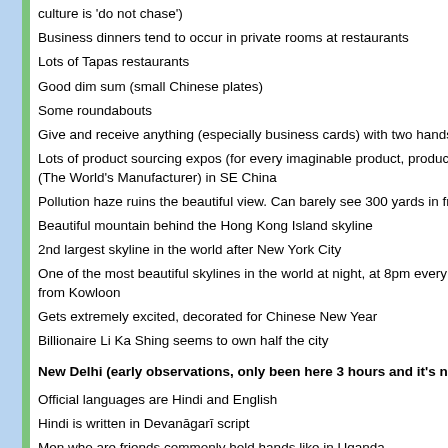culture is 'do not chase')
Business dinners tend to occur in private rooms at restaurants
Lots of Tapas restaurants
Good dim sum (small Chinese plates)
Some roundabouts
Give and receive anything (especially business cards) with two hands
Lots of product sourcing expos (for every imaginable product, produced in Sh(The World's Manufacturer) in SE China
Pollution haze ruins the beautiful view. Can barely see 300 yards in front of y
Beautiful mountain behind the Hong Kong Island skyline
2nd largest skyline in the world after New York City
One of the most beautiful skylines in the world at night, at 8pm every night ha from Kowloon
Gets extremely excited, decorated for Chinese New Year
Billionaire Li Ka Shing seems to own half the city
New Delhi (early observations, only been here 3 hours and it's night)
Official languages are Hindi and English
Hindi is written in Devanāgarī script
Men who are friends commonly hold hands like in Uganda
Men with rifles at car checkpoints leaving airport
11.9M residents